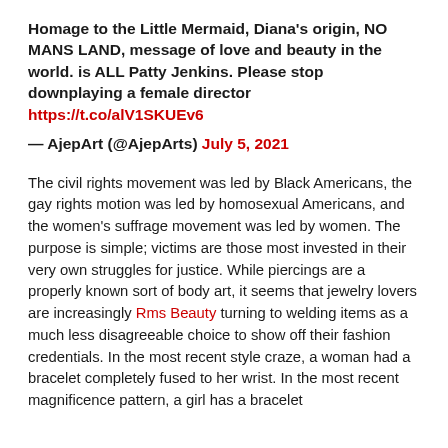Homage to the Little Mermaid, Diana's origin, NO MANS LAND, message of love and beauty in the world. is ALL Patty Jenkins. Please stop downplaying a female director https://t.co/alV1SKUEv6
— AjepArt (@AjepArts) July 5, 2021
The civil rights movement was led by Black Americans, the gay rights motion was led by homosexual Americans, and the women's suffrage movement was led by women. The purpose is simple; victims are those most invested in their very own struggles for justice. While piercings are a properly known sort of body art, it seems that jewelry lovers are increasingly Rms Beauty turning to welding items as a much less disagreeable choice to show off their fashion credentials. In the most recent style craze, a woman had a bracelet completely fused to her wrist. In the most recent magnificence pattern, a girl has a bracelet